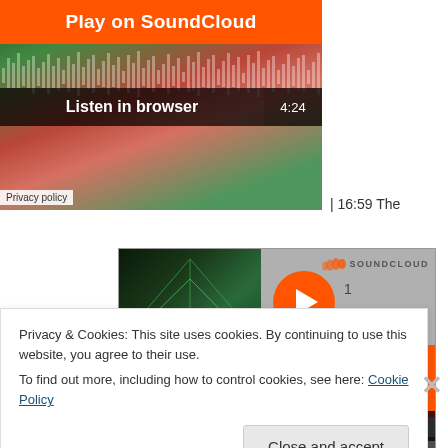[Figure (screenshot): SoundCloud embed player (top, partial) showing 'Play on SoundCloud' orange button, 'Listen in browser' bar, waveform, time 4:24, colorful abstract background]
Privacy policy
| 16:59 The
[Figure (screenshot): SoundCloud embed player (middle) showing thumbnail with green geometric art, orange play button, 'Play on SoundCloud' orange button, 'Listen in browser' bar, time 3:58, SoundCloud logo]
Privacy policy
Longest Minute |
[Figure (screenshot): SoundCloud embed player (bottom, partial) showing thumbnail with fire/orange art, orange play button, SoundCloud logo, partial view]
Privacy & Cookies: This site uses cookies. By continuing to use this website, you agree to their use.
To find out more, including how to control cookies, see here: Cookie Policy
Close and accept